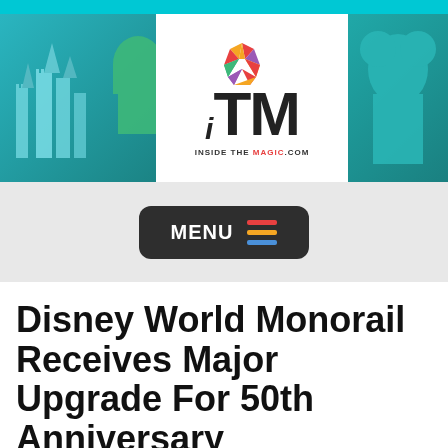[Figure (logo): Inside The Magic (ITM) website header banner with logo, colorful starburst, and teal-themed background panels with Disney character imagery]
[Figure (screenshot): Dark rounded MENU button with colorful horizontal bars icon (red, orange, blue)]
Disney World Monorail Receives Major Upgrade For 50th Anniversary
IN WALT DISNEY WORLD